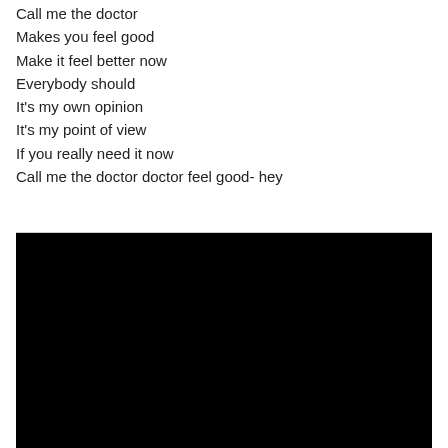Call me the doctor
Makes you feel good
Make it feel better now
Everybody should
It's my own opinion
It's my point of view
If you really need it now
Call me the doctor doctor feel good- hey
[Figure (other): Black rectangle representing a video embed or image placeholder]